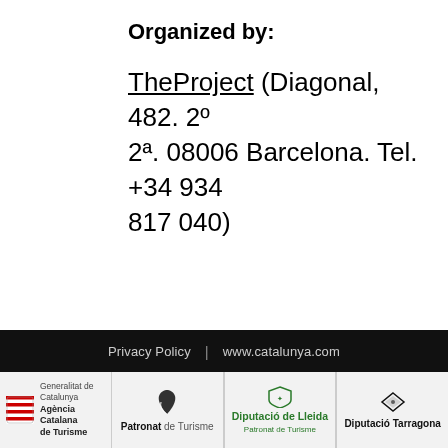Organized by:
TheProject (Diagonal, 482. 2º 2ª. 08006 Barcelona. Tel. +34 934 817 040)
Privacy Policy  |  www.catalunya.com
[Figure (logo): Four logos in a light grey bar: Generalitat de Catalunya Agència Catalana de Turisme, Patronat de Turisme (with leaf icon), Diputació Tarragona (with diamond icon), Diputació de Lleida Patronat de Turisme (with shield crest, in green)]